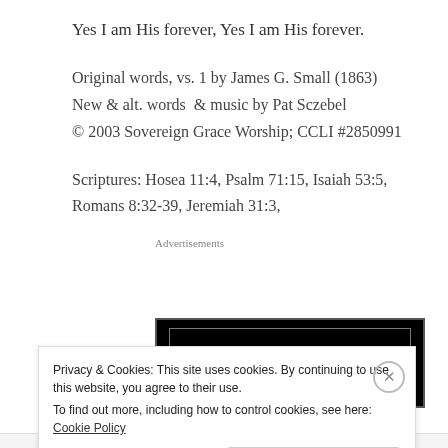Yes I am His forever, Yes I am His forever.
Original words, vs. 1 by James G. Small (1863)
New & alt. words  & music by Pat Sczebel
© 2003 Sovereign Grace Worship; CCLI #2850991
Scriptures: Hosea 11:4, Psalm 71:15, Isaiah 53:5, Romans 8:32-39, Jeremiah 31:3,
[Figure (screenshot): Longreads advertisement banner with black background, red circular L logo, and LONGREADS text in white]
Privacy & Cookies: This site uses cookies. By continuing to use this website, you agree to their use.
To find out more, including how to control cookies, see here: Cookie Policy
Close and accept